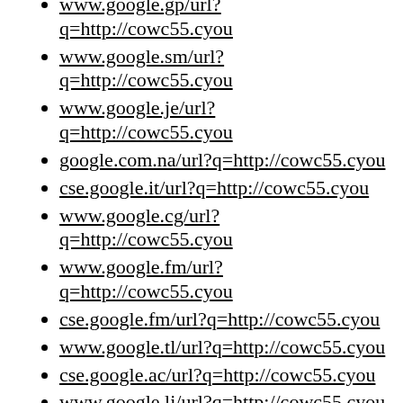www.google.gp/url?q=http://cowc55.cyou
www.google.sm/url?q=http://cowc55.cyou
www.google.je/url?q=http://cowc55.cyou
google.com.na/url?q=http://cowc55.cyou
cse.google.it/url?q=http://cowc55.cyou
www.google.cg/url?q=http://cowc55.cyou
www.google.fm/url?q=http://cowc55.cyou
cse.google.fm/url?q=http://cowc55.cyou
www.google.tl/url?q=http://cowc55.cyou
cse.google.ac/url?q=http://cowc55.cyou
www.google.li/url?q=http://cowc55.cyou
www.google.kg/url?q=http://cowc55.cyou
www.google.dm/url?q=http://cowc55.cyou
cse.google.ee/url?q=http://cowc55.cyou
google.com.mm/url?q=http://cowc55.cyou
cse.google.by/url?q=http://cowc55.cyou
google.com.cu/url?q=http://cowc55.cyou
cse.google.be/url?q=http://cowc55.cyou